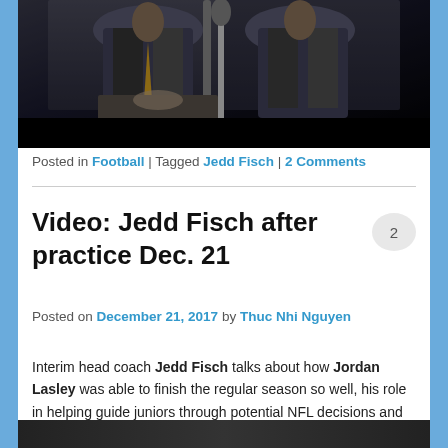[Figure (photo): Two men in suits at a press conference with a microphone, partially visible from the torso up against a dark background.]
Posted in Football | Tagged Jedd Fisch | 2 Comments
Video: Jedd Fisch after practice Dec. 21
Posted on December 21, 2017 by Thuc Nhi Nguyen
Interim head coach Jedd Fisch talks about how Jordan Lasley was able to finish the regular season so well, his role in helping guide juniors through potential NFL decisions and how Kolton Miller has progressed this year.
[Figure (photo): Bottom portion of a video/photo, mostly dark/black background, partially cut off at the bottom of the page.]